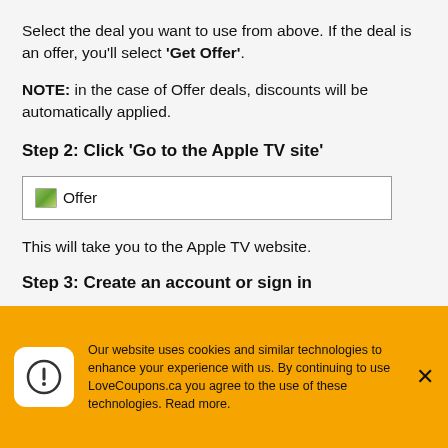Select the deal you want to use from above. If the deal is an offer, you’ll select ‘Get Offer’.
NOTE: in the case of Offer deals, discounts will be automatically applied.
Step 2: Click ‘Go to the Apple TV site’
[Figure (screenshot): A button/box labeled Offer with a small image icon placeholder on the left side, shown in a bordered rectangle]
This will take you to the Apple TV website.
Step 3: Create an account or sign in
Sign in to your Apple Account or Create an account to sync all your Apple devices to the
Our website uses cookies and similar technologies to enhance your experience with us. By continuing to use LoveCoupons.ca you agree to the use of these technologies. Read more.